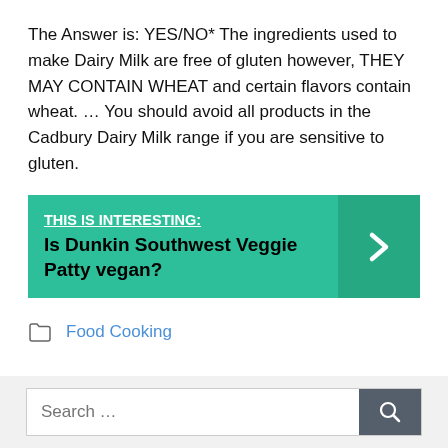The Answer is: YES/NO* The ingredients used to make Dairy Milk are free of gluten however, THEY MAY CONTAIN WHEAT and certain flavors contain wheat. ... You should avoid all products in the Cadbury Dairy Milk range if you are sensitive to gluten.
[Figure (infographic): Teal/green banner with text: THIS IS INTERESTING: Is Dunkin Southwest Veggie Patty vegan? with a right-arrow chevron on the right side on a darker teal background.]
Food Cooking
Search ...